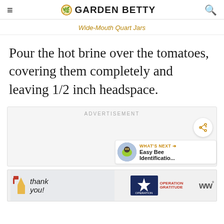GARDEN BETTY
Wide-Mouth Quart Jars
Pour the hot brine over the tomatoes, covering them completely and leaving 1/2 inch headspace.
[Figure (other): Advertisement placeholder with share button and What's Next panel showing Easy Bee Identificatio...]
[Figure (other): Bottom advertisement banner with Thank You Operation Gratitude imagery]